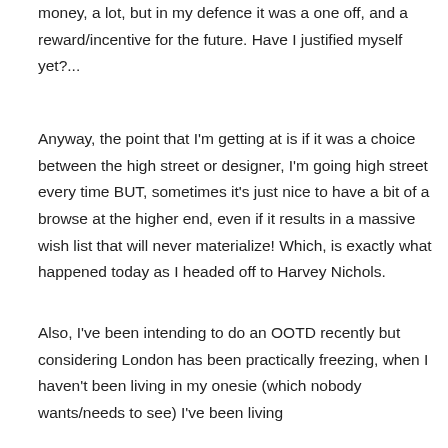money, a lot, but in my defence it was a one off, and a reward/incentive for the future. Have I justified myself yet?...
Anyway, the point that I'm getting at is if it was a choice between the high street or designer, I'm going high street every time BUT, sometimes it's just nice to have a bit of a browse at the higher end, even if it results in a massive wish list that will never materialize! Which, is exactly what happened today as I headed off to Harvey Nichols.
Also, I've been intending to do an OOTD recently but considering London has been practically freezing, when I haven't been living in my onesie (which nobody wants/needs to see) I've been living